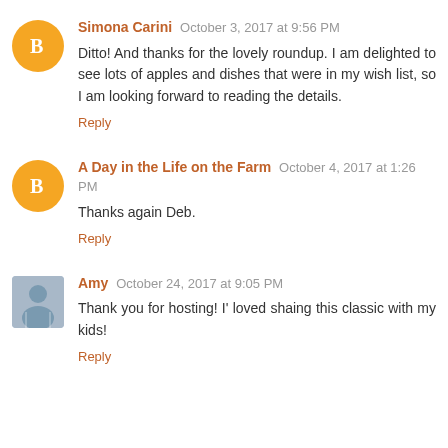Simona Carini October 3, 2017 at 9:56 PM
Ditto! And thanks for the lovely roundup. I am delighted to see lots of apples and dishes that were in my wish list, so I am looking forward to reading the details.
Reply
A Day in the Life on the Farm October 4, 2017 at 1:26 PM
Thanks again Deb.
Reply
Amy October 24, 2017 at 9:05 PM
Thank you for hosting! I' loved shaing this classic with my kids!
Reply